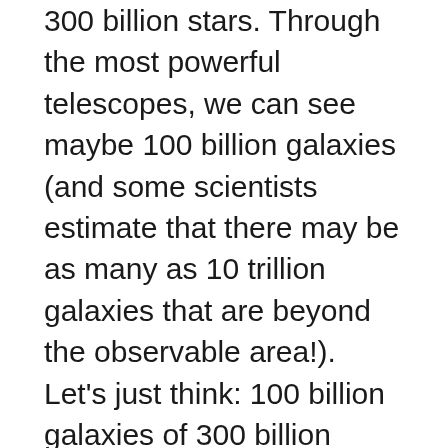300 billion stars. Through the most powerful telescopes, we can see maybe 100 billion galaxies (and some scientists estimate that there may be as many as 10 trillion galaxies that are beyond the observable area!). Let's just think: 100 billion galaxies of 300 billion stars. There are 7.5 billion people in the world. Let's be generous and round that up to 10 billion. That means that every person on this planet could get 10 galaxies, each of which has 300 billion stars (some less, some more). Is that enough to keep you busy? But God “brings out their host by number, calling them all by name.”
Without any instruments, on a very dark night in a remote place, you might be able to see 5,000-7,000 stars. The sky looks absolutely on fire with